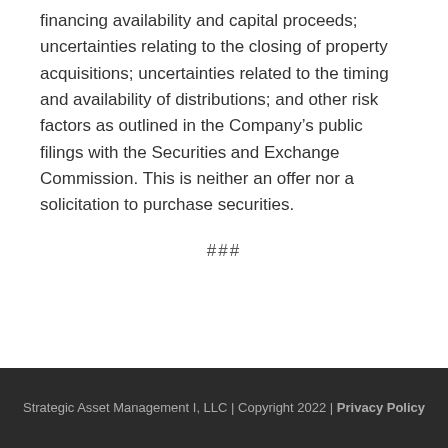financing availability and capital proceeds; uncertainties relating to the closing of property acquisitions; uncertainties related to the timing and availability of distributions; and other risk factors as outlined in the Company's public filings with the Securities and Exchange Commission. This is neither an offer nor a solicitation to purchase securities.
###
Strategic Asset Management I, LLC | Copyright 2022 | Privacy Policy